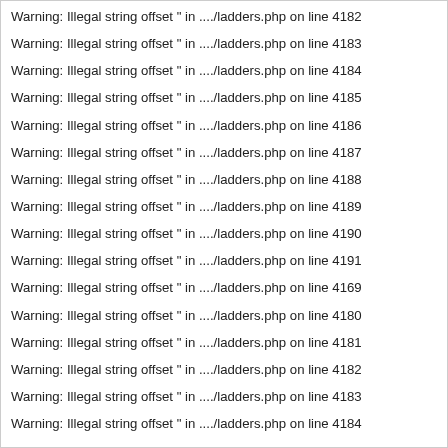Warning: Illegal string offset " in ..../ladders.php on line 4182
Warning: Illegal string offset " in ..../ladders.php on line 4183
Warning: Illegal string offset " in ..../ladders.php on line 4184
Warning: Illegal string offset " in ..../ladders.php on line 4185
Warning: Illegal string offset " in ..../ladders.php on line 4186
Warning: Illegal string offset " in ..../ladders.php on line 4187
Warning: Illegal string offset " in ..../ladders.php on line 4188
Warning: Illegal string offset " in ..../ladders.php on line 4189
Warning: Illegal string offset " in ..../ladders.php on line 4190
Warning: Illegal string offset " in ..../ladders.php on line 4191
Warning: Illegal string offset " in ..../ladders.php on line 4169
Warning: Illegal string offset " in ..../ladders.php on line 4180
Warning: Illegal string offset " in ..../ladders.php on line 4181
Warning: Illegal string offset " in ..../ladders.php on line 4182
Warning: Illegal string offset " in ..../ladders.php on line 4183
Warning: Illegal string offset " in ..../ladders.php on line 4184